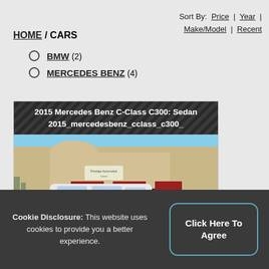Sort By: Price | Year | Make/Model | Recent
HOME / CARS
BMW (2)
MERCEDES BENZ (4)
[Figure (photo): Card showing 2015 Mercedes Benz C-Class C300 Sedan with photo of white sedan in front of dealership building with red awnings]
Cookie Disclosure: This website uses cookies to provide you a better experience.
Click Here To Agree